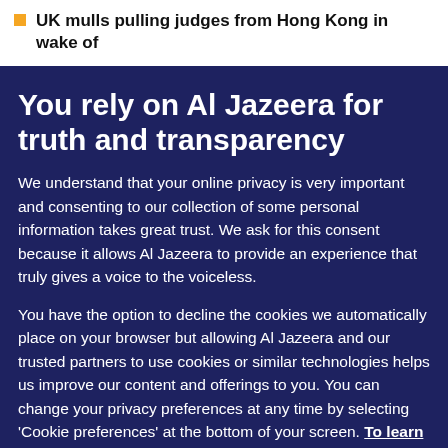UK mulls pulling judges from Hong Kong in wake of …
You rely on Al Jazeera for truth and transparency
We understand that your online privacy is very important and consenting to our collection of some personal information takes great trust. We ask for this consent because it allows Al Jazeera to provide an experience that truly gives a voice to the voiceless.
You have the option to decline the cookies we automatically place on your browser but allowing Al Jazeera and our trusted partners to use cookies or similar technologies helps us improve our content and offerings to you. You can change your privacy preferences at any time by selecting 'Cookie preferences' at the bottom of your screen. To learn more, please view our Cookie Policy.